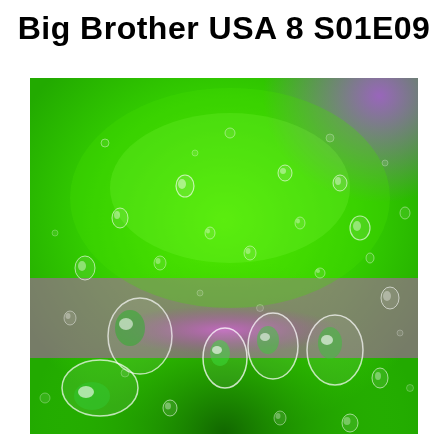Big Brother USA 8 S01E09
[Figure (photo): Close-up macro photograph of water droplets on a surface with a vivid bright green and purple background, showing various sized droplets with reflective highlights.]